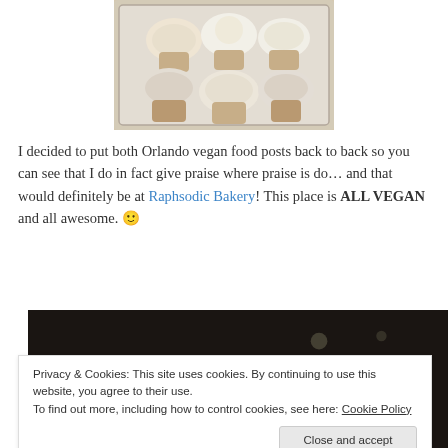[Figure (photo): A plastic container filled with assorted vegan cupcakes with frosting, viewed from above.]
I decided to put both Orlando vegan food posts back to back so you can see that I do in fact give praise where praise is do… and that would definitely be at Raphsodic Bakery! This place is ALL VEGAN and all awesome. 🙂
[Figure (photo): Dark interior photo, partially obscured by cookie consent banner.]
Privacy & Cookies: This site uses cookies. By continuing to use this website, you agree to their use.
To find out more, including how to control cookies, see here: Cookie Policy
Close and accept